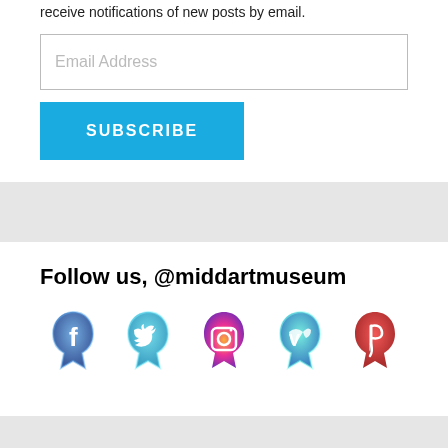receive notifications of new posts by email.
[Figure (screenshot): Email address input field with placeholder text 'Email Address']
[Figure (screenshot): Blue SUBSCRIBE button]
Follow us, @middartmuseum
[Figure (illustration): Row of five social media icons: Facebook (blue), Twitter (cyan/blue), Instagram (orange/purple gradient), Vimeo (teal/blue), Pinterest (red)]